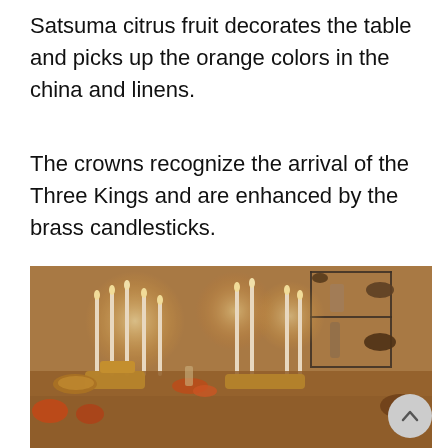Satsuma citrus fruit decorates the table and picks up the orange colors in the china and linens.
The crowns recognize the arrival of the Three Kings and are enhanced by the brass candlesticks.
My family’s Greek tradition is to hide a good luck coin in the New Year’s Bread, who will win?!?
[Figure (photo): A warmly lit dining table set with brass candlesticks holding lit candles, decorative items, and a metal shelving unit in the background displaying vases and bowls.]